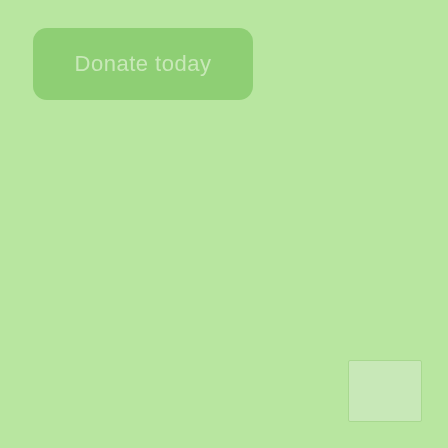[Figure (other): A rounded rectangle button with light green background and text 'Donate today' in muted light color, positioned in the upper left area of a light green background page.]
[Figure (other): A small empty rectangle box with subtle border in the bottom right corner of the page.]